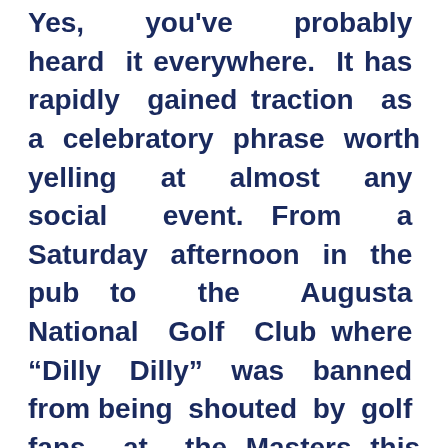Yes, you've probably heard it everywhere. It has rapidly gained traction as a celebratory phrase worth yelling at almost any social event. From a Saturday afternoon in the pub to the Augusta National Golf Club where “Dilly Dilly” was banned from being shouted by golf fans at the Masters this month.
AB InBev’s recent Bud Light campaign has echoes of their famous Budweiser “Whassup” campaign from 1999, which